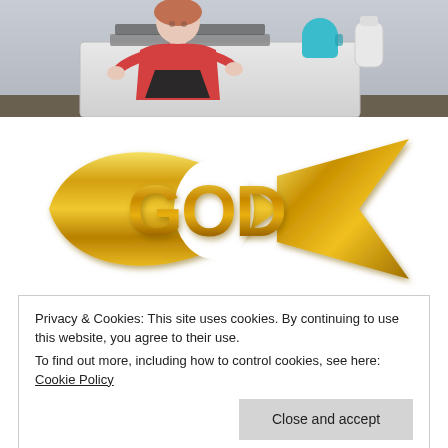[Figure (photo): Person in red shirt kneeling at a white appliance (washer/dryer) with a laptop on top, teal mug, and plastic bottle visible]
[Figure (logo): Gold ichthys (Christian fish symbol) with the word GOD inside, rendered in metallic gold gradient]
Privacy & Cookies: This site uses cookies. By continuing to use this website, you agree to their use.
To find out more, including how to control cookies, see here: Cookie Policy
Close and accept
rolling on the ground in ecstasy, the worldly man will be